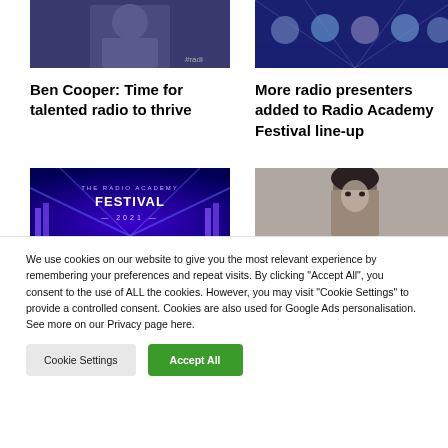[Figure (photo): Photo of Ben Cooper, a man in a dark jacket]
[Figure (photo): Group photo of more radio presenters added to Radio Academy Festival line-up, on a blue graphic background]
Ben Cooper: Time for talented radio to thrive
More radio presenters added to Radio Academy Festival line-up
[Figure (photo): The Radio Academy Festival 2021 logo on a dark blue background with purple light rays]
[Figure (photo): Close-up photo of a woman with dark hair]
We use cookies on our website to give you the most relevant experience by remembering your preferences and repeat visits. By clicking “Accept All”, you consent to the use of ALL the cookies. However, you may visit “Cookie Settings” to provide a controlled consent. Cookies are also used for Google Ads personalisation. See more on our Privacy page here.
Cookie Settings
Accept All